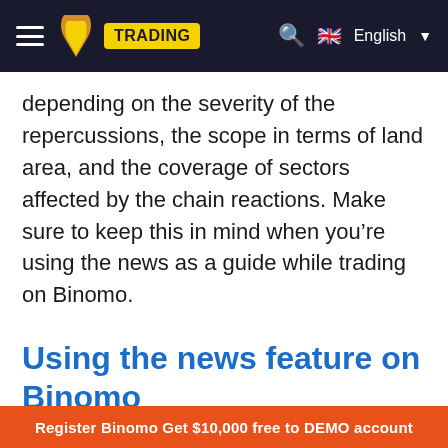≡  / TRADING   🔍  🇬🇧 English ▾
depending on the severity of the repercussions, the scope in terms of land area, and the coverage of sectors affected by the chain reactions. Make sure to keep this in mind when you're using the news as a guide while trading on Binomo.
Using the news feature on Binomo
Luckily for Binomo traders, the company actually offers this feature right on the platform.
Register Binomo Get $10,000 free to DEMO account